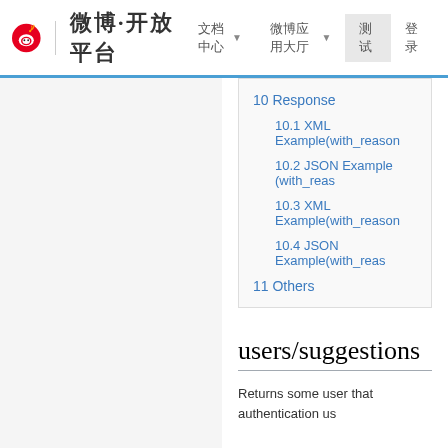微博·开放平台
10 Response
10.1 XML Example(with_reason
10.2 JSON Example (with_reas
10.3 XML Example(with_reason
10.4 JSON Example(with_reas
11 Others
users/suggestions
Returns some user that authentication us
URL
http://api.t.sina.com.cn/users/suggesti
Supported Formats